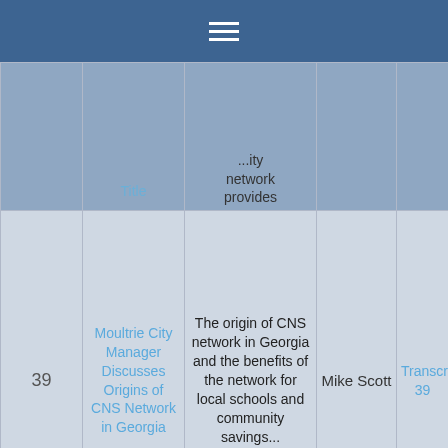≡
|  | Title | Summary | Speaker | Link |
| --- | --- | --- | --- | --- |
|  |  | ...ity network provides |  |  |
| 39 | Moultrie City Manager Discusses Origins of CNS Network in Georgia | The origin of CNS network in Georgia and the benefits of the network for local schools and community savings... | Mike Scott | Transcript 39 |